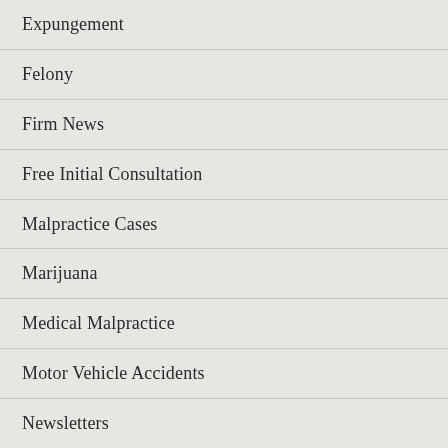Expungement
Felony
Firm News
Free Initial Consultation
Malpractice Cases
Marijuana
Medical Malpractice
Motor Vehicle Accidents
Newsletters